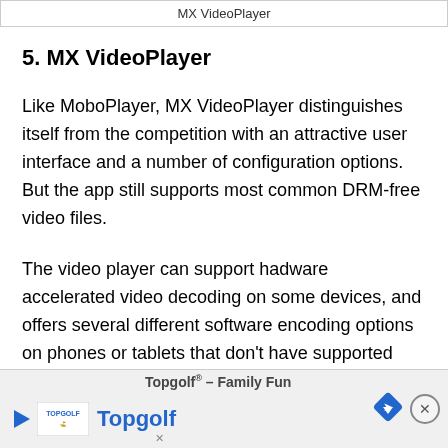MX VideoPlayer
5. MX VideoPlayer
Like MoboPlayer, MX VideoPlayer distinguishes itself from the competition with an attractive user interface and a number of configuration options. But the app still supports most common DRM-free video files.
The video player can support hadware accelerated video decoding on some devices, and offers several different software encoding options on phones or tablets that don't have supported hardw...